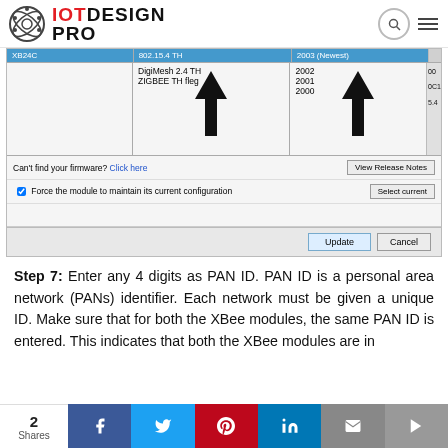IOT DESIGN PRO
[Figure (screenshot): Firmware update dialog showing XBee firmware selection table with arrows pointing upward in function set and firmware version columns, plus Update and Cancel buttons]
Step 7: Enter any 4 digits as PAN ID. PAN ID is a personal area network (PANs) identifier. Each network must be given a unique ID. Make sure that for both the XBee modules, the same PAN ID is entered. This indicates that both the XBee modules are in
2 Shares